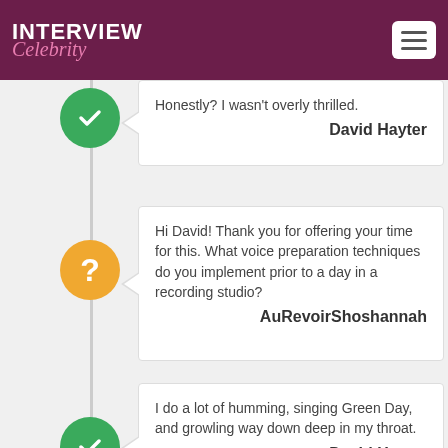INTERVIEW Celebrity
Honestly? I wasn't overly thrilled.
David Hayter
Hi David! Thank you for offering your time for this. What voice preparation techniques do you implement prior to a day in a recording studio?
AuRevoirShoshannah
I do a lot of humming, singing Green Day, and growling way down deep in my throat.
David Hayter